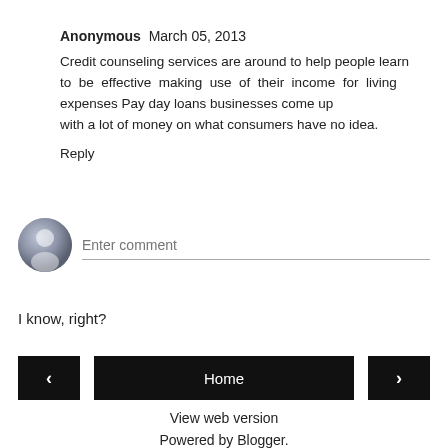Anonymous  March 05, 2013
Credit counseling services are around to help people learn to be effective making use of their income for living expenses Pay day loans businesses come up with a lot of money on what consumers have no idea.
Reply
[Figure (other): User avatar placeholder icon for comment input area with 'Enter comment' placeholder text]
I know, right?
Home
View web version
Powered by Blogger.